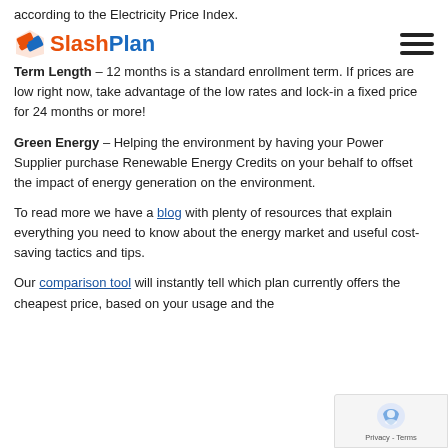according to the Electricity Price Index.
SlashPlan
Term Length – 12 months is a standard enrollment term. If prices are low right now, take advantage of the low rates and lock-in a fixed price for 24 months or more!
Green Energy – Helping the environment by having your Power Supplier purchase Renewable Energy Credits on your behalf to offset the impact of energy generation on the environment.
To read more we have a blog with plenty of resources that explain everything you need to know about the energy market and useful cost-saving tactics and tips.
Our comparison tool will instantly tell which plan currently offers the cheapest price, based on your usage and the